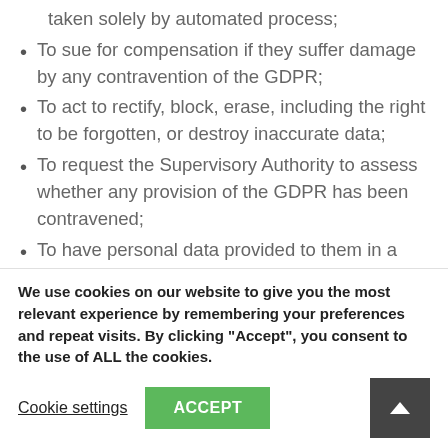taken solely by automated process;
To sue for compensation if they suffer damage by any contravention of the GDPR;
To act to rectify, block, erase, including the right to be forgotten, or destroy inaccurate data;
To request the Supervisory Authority to assess whether any provision of the GDPR has been contravened;
To have personal data provided to them in a structured, commonly used and machine-readable format, and the right to have that data transmitted to another controller;
To object to any automated profiling that is occurring
We use cookies on our website to give you the most relevant experience by remembering your preferences and repeat visits. By clicking “Accept”, you consent to the use of ALL the cookies.
Cookie settings  ACCEPT